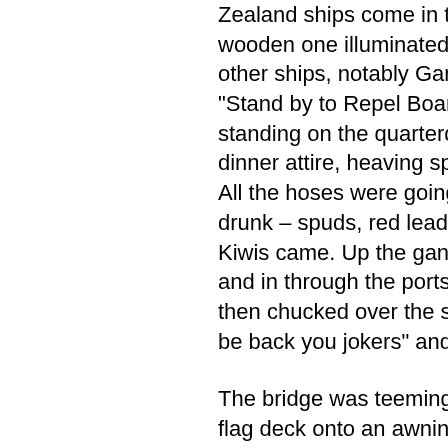Zealand ships come in the black night to pinch our Cock. The wooden one illuminated on B turret. There were also parties from other ships, notably Gambia and Forth. The Captain himself piped "Stand by to Repel Boarders" and when we got up top he was standing on the quarterdeck, drenched to the skin, clad in formal dinner attire, heaving spuds and shouting, "Rally round Phoebes!" All the hoses were going, all the officers were drenched and mostly drunk – spuds, red lead bombs, paint, buckets of gash, and still the Kiwis came. Up the gangway, up the anchor cable, up the booms and in through the ports. They were beaten, drenched, painted and then chucked over the side only to shout back in defiance, "We'll be back you jokers" and back they'd come.
The bridge was teeming with them. One of them was thrown off the flag deck onto an awning and then over